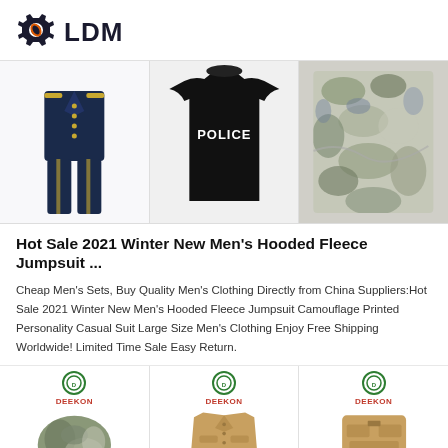[Figure (logo): LDM logo with gear/wrench icon in dark navy and orange, bold LDM text]
[Figure (photo): Three product images in a horizontal strip: navy military/police uniform set, black POLICE t-shirt, camouflage fabric]
Hot Sale 2021 Winter New Men's Hooded Fleece Jumpsuit ...
Cheap Men's Sets, Buy Quality Men's Clothing Directly from China Suppliers:Hot Sale 2021 Winter New Men's Hooded Fleece Jumpsuit Camouflage Printed Personality Casual Suit Large Size Men's Clothing Enjoy Free Shipping Worldwide! Limited Time Sale Easy Return.
[Figure (photo): Three product images in a horizontal strip each with DEEKON brand badge: camouflage scrunchie/hair accessory, tan/khaki military jacket, tan tactical vest/gear]